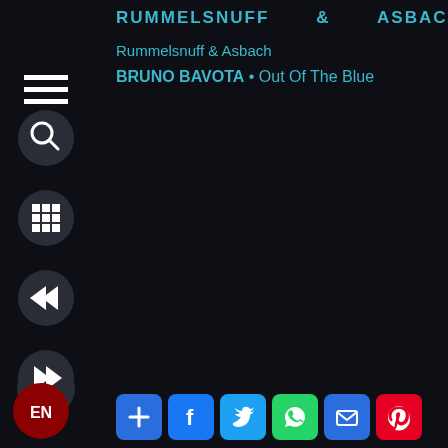RUMMELSNUFF & ASBACH •
Rummelsnuff & Asbach
BRUNO BAVOTA • Out Of The Blue
[Figure (screenshot): Navigation UI with hamburger menu, search button, grid button, rewind button, fast-forward button, share buttons (plus, facebook, twitter, whatsapp, mail, pinterest), and EN language button on a dark background]